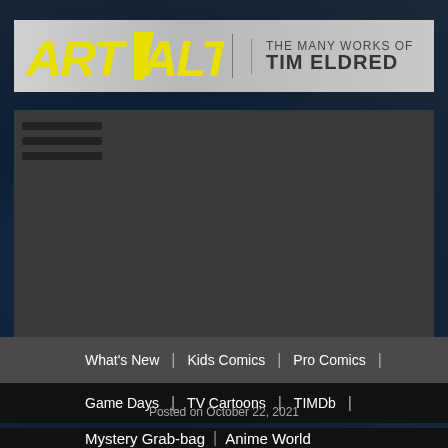[Figure (logo): ArtValt logo banner - yellow italic bold text 'ART' with chevron 'V' then 'ALT' alongside tagline 'THE MANY WORKS of TIM ELDRED' on gray gradient background]
[Figure (illustration): Dark blue comic art background texture with anime/sci-fi artwork]
[Figure (screenshot): Dark gray navigation panel area with hamburger menu icon (three horizontal lines) in upper left]
What's New | Kids Comics | Pro Comics |
Game Days | TV Cartoons | TIMDb |
Posted on October 22, 2021
Mystery Grab-bag | Anime World